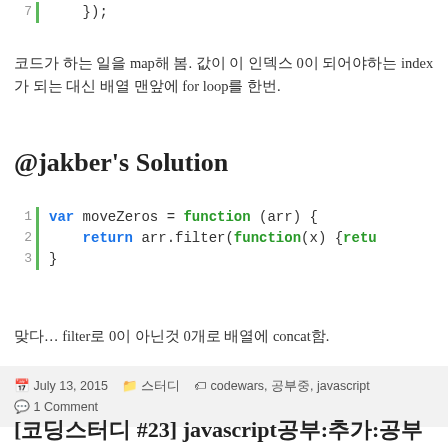코드가 하는 일을 map해 봄. 값이 이 인덱스 0이 되어야하는 index가 되는 대신 배열 맨앞에 for loop를 한번.
@jakber's Solution
[Figure (screenshot): Code block showing: 1 var moveZeros = function (arr) { 2   return arr.filter(function(x) {retu 3 }]
맞다… filter로 0이 아닌것 0개로 배열에 concat함.
July 13, 2015  스터디  codewars, 공부중, javascript  1 Comment
[코딩스터디 #23] javascript공부:추가:공부